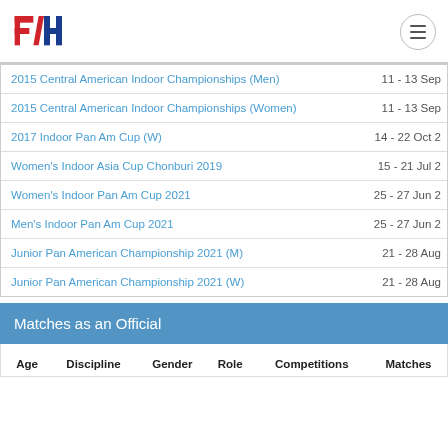FIH logo and navigation
| Competition | Dates |
| --- | --- |
| 2015 Central American Indoor Championships (Men) | 11 - 13 Sep |
| 2015 Central American Indoor Championships (Women) | 11 - 13 Sep |
| 2017 Indoor Pan Am Cup (W) | 14 - 22 Oct |
| Women's Indoor Asia Cup Chonburi 2019 | 15 - 21 Jul 2 |
| Women's Indoor Pan Am Cup 2021 | 25 - 27 Jun 2 |
| Men's Indoor Pan Am Cup 2021 | 25 - 27 Jun 2 |
| Junior Pan American Championship 2021 (M) | 21 - 28 Aug |
| Junior Pan American Championship 2021 (W) | 21 - 28 Aug |
Matches as an Official
| Age | Discipline | Gender | Role | Competitions | Matches |
| --- | --- | --- | --- | --- | --- |